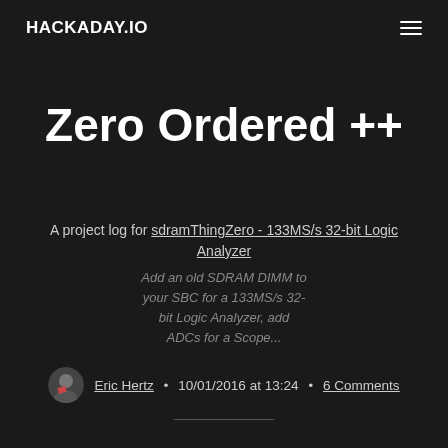HACKADAY.IO
Zero Ordered ++
A project log for sdramThingZero - 133MS/s 32-bit Logic Analyzer
Add an old SDRAM DIMM to your SBC for a 133MS/s 32-bit Logic Analyzer, add ADCs for a Scope...
Eric Hertz • 10/01/2016 at 13:24 • 6 Comments